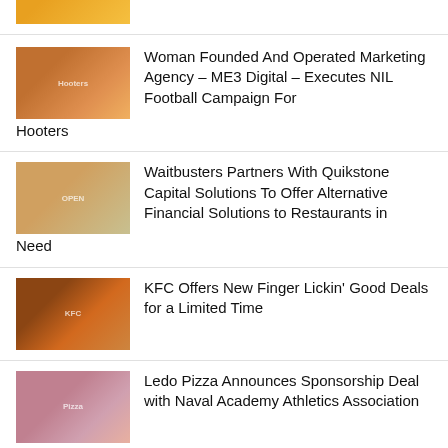Fast Casual Breakfast Concept, Eifin Egg, Opens First NYC Location
Woman Founded And Operated Marketing Agency – ME3 Digital – Executes NIL Football Campaign For Hooters
Waitbusters Partners With Quikstone Capital Solutions To Offer Alternative Financial Solutions to Restaurants in Need
KFC Offers New Finger Lickin' Good Deals for a Limited Time
Ledo Pizza Announces Sponsorship Deal with Naval Academy Athletics Association
Vendors, Let Flhip.com Get You in the